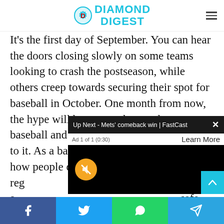Diamond Digest
It's the first day of September. You can hear the doors closing slowly on some teams looking to crash the postseason, while others creep towards securing their spot for baseball in October. One month from now, the hype will be centered around postseason baseball and the drama that comes attached to it. As a baseball fanatic, I understand how people can get so bored watching reg... playoff baseball is a... safe, anything can... Everything that the...
[Figure (screenshot): Video overlay popup: 'Up Next - Mets' comeback win | FastCast' with ad bar showing 'Ad 1 of 1 (0:30)' and 'Learn More', black video area with muted (orange) button and cyan scroll-up button]
Facebook, Twitter, WhatsApp, Telegram social share bar